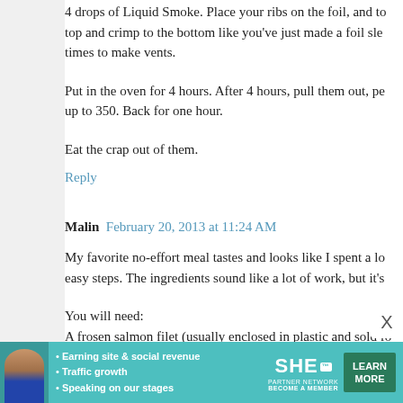4 drops of Liquid Smoke. Place your ribs on the foil, and fold the top and crimp to the bottom like you've just made a foil sleeve. Pierce a few times to make vents.
Put in the oven for 4 hours. After 4 hours, pull them out, peel up to 350. Back for one hour.
Eat the crap out of them.
Reply
Malin  February 20, 2013 at 11:24 AM
My favorite no-effort meal tastes and looks like I spent a lot of time on it, but it only takes a few easy steps. The ingredients sound like a lot of work, but it's
You will need:
A frosen salmon filet (usually enclosed in plastic and sold fo
Teriyaki sauce (preferably the one with ginger and sesame
rice
Water (2 parts water for 1 part rice)
A pinch of salt
Put the water and salt in a pot and set to boil.
While you wait for the water to boil, take the salmon
minutes
[Figure (infographic): SHE Partner Network advertisement banner with photo of woman, bullet points: Earning site & social revenue, Traffic growth, Speaking on our stages. SHE PARTNER NETWORK BECOME A MEMBER logo. LEARN MORE green button.]